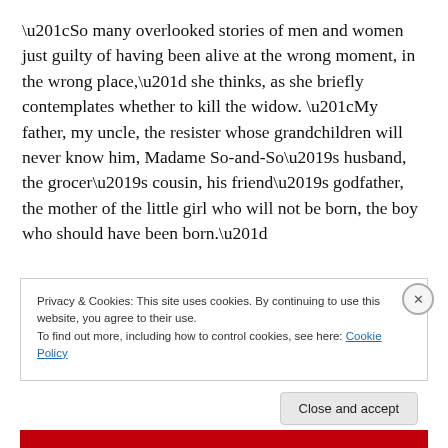“So many overlooked stories of men and women just guilty of having been alive at the wrong moment, in the wrong place,” she thinks, as she briefly contemplates whether to kill the widow. “My father, my uncle, the resister whose grandchildren will never know him, Madame So-and-So’s husband, the grocer’s cousin, his friend’s godfather, the mother of the little girl who will not be born, the boy who should have been born.”
Privacy & Cookies: This site uses cookies. By continuing to use this website, you agree to their use.
To find out more, including how to control cookies, see here: Cookie Policy